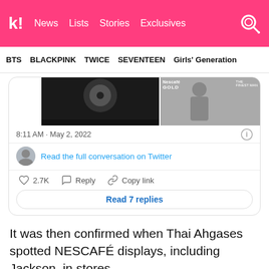Koreaboo — News, Lists, Stories, Exclusives
BTS  BLACKPINK  TWICE  SEVENTEEN  Girls' Generation
[Figure (screenshot): Embedded tweet showing two images (black and white photo on left, NESCAFÉ Gold advertisement on right), timestamp 8:11 AM · May 2, 2022, a 'Read the full conversation on Twitter' link with avatar, like count 2.7K, Reply and Copy link actions, and a 'Read 7 replies' button.]
It was then confirmed when Thai Ahgases spotted NESCAFÉ displays, including Jackson, in stores.